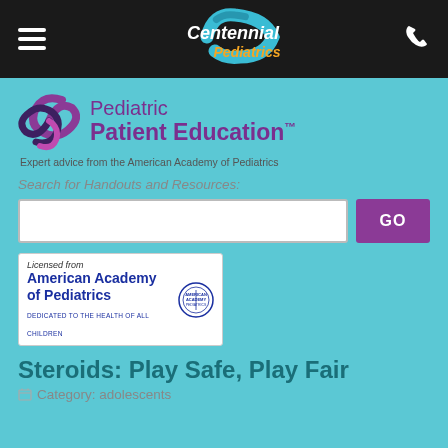Centennial Pediatrics — Navigation bar with hamburger menu and phone icon
[Figure (logo): Centennial Pediatrics logo with teal wave and orange/white text]
[Figure (logo): Pediatric Patient Education logo with purple spiral icon]
Expert advice from the American Academy of Pediatrics
Search for Handouts and Resources:
[Figure (logo): American Academy of Pediatrics badge: Licensed from American Academy of Pediatrics — Dedicated to the Health of All Children]
Steroids: Play Safe, Play Fair
Category: adolescents